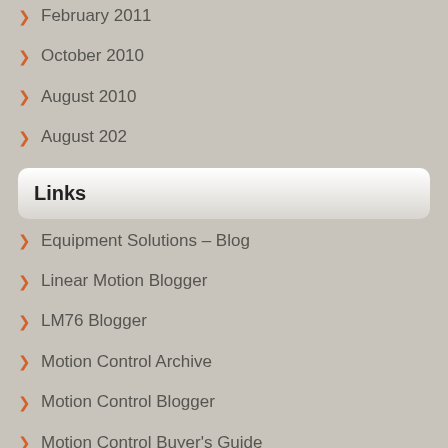February 2011
October 2010
August 2010
August 202
Links
Equipment Solutions – Blog
Linear Motion Blogger
LM76 Blogger
Motion Control Archive
Motion Control Blogger
Motion Control Buyer's Guide
Motion Control Marketing
Motion Control Web
MotionShop.com